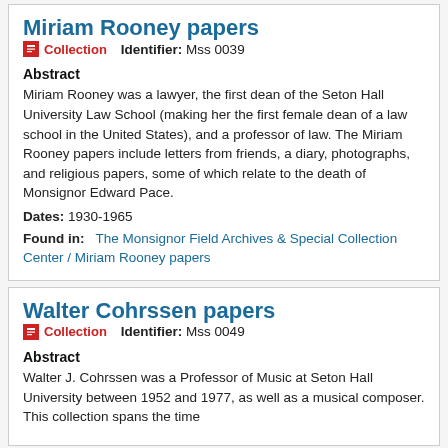Miriam Rooney papers
Collection   Identifier: Mss 0039
Abstract
Miriam Rooney was a lawyer, the first dean of the Seton Hall University Law School (making her the first female dean of a law school in the United States), and a professor of law. The Miriam Rooney papers include letters from friends, a diary, photographs, and religious papers, some of which relate to the death of Monsignor Edward Pace.
Dates: 1930-1965
Found in:   The Monsignor Field Archives & Special Collection Center / Miriam Rooney papers
Walter Cohrssen papers
Collection   Identifier: Mss 0049
Abstract
Walter J. Cohrssen was a Professor of Music at Seton Hall University between 1952 and 1977, as well as a musical composer. This collection spans the time